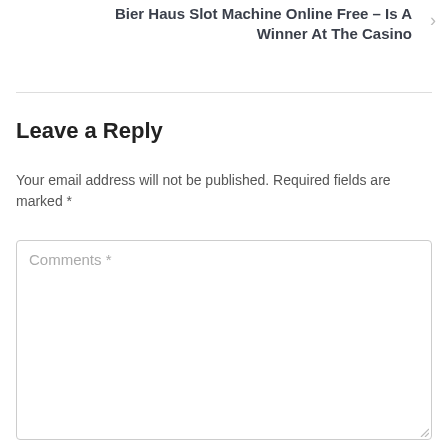Bier Haus Slot Machine Online Free – Is A Winner At The Casino
Leave a Reply
Your email address will not be published. Required fields are marked *